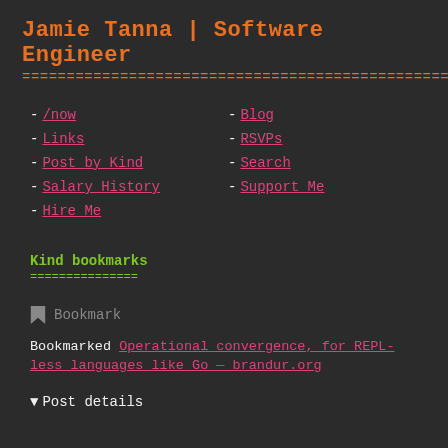Jamie Tanna | Software Engineer
- /now
- Links
- Post by Kind
- Salary History
- Hire Me
- Blog
- RSVPs
- Search
- Support Me
Kind bookmarks
🔖 Bookmark
Bookmarked Operational convergence, for REPL-less languages like Go — brandur.org
▼ Post details